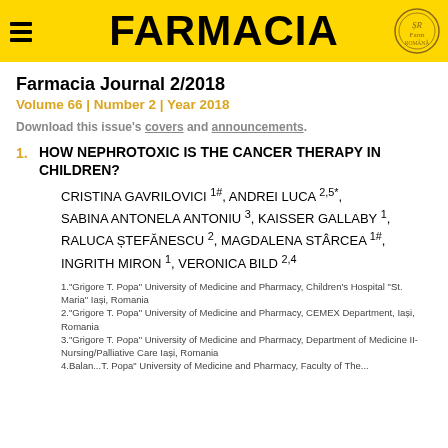FARMACIA
Farmacia Journal 2/2018
Volume 66 | Number 2 | Year 2018
Download this issue's covers and announcements.
1. HOW NEPHROTOXIC IS THE CANCER THERAPY IN CHILDREN?
CRISTINA GAVRILOVICI 1#, ANDREI LUCA 2,5*, SABINA ANTONELA ANTONIU 3, KAISSER GALLABY 1, RALUCA ȘTEFĂNESCU 2, MAGDALENA STÂRCEA 1#, INGRITH MIRON 1, VERONICA BILD 2,4
1."Grigore T. Popa" University of Medicine and Pharmacy, Children's Hospital "St. Maria" Iași, Romania
2."Grigore T. Popa" University of Medicine and Pharmacy, CEMEX Department, Iași, Romania
3."Grigore T. Popa" University of Medicine and Pharmacy, Department of Medicine II-Nursing/Palliative Care Iași, Romania